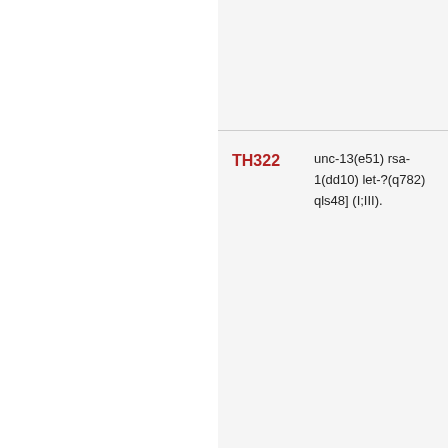| Strain | Genotype |
| --- | --- |
| TH322 | unc-13(e51) rsa-1(dd10) let-?(q782) qls48] (I;III). |
| TH323 | unc-13(e51) rsa-1(dd13) let-?(q782) qls48] (I;III). |